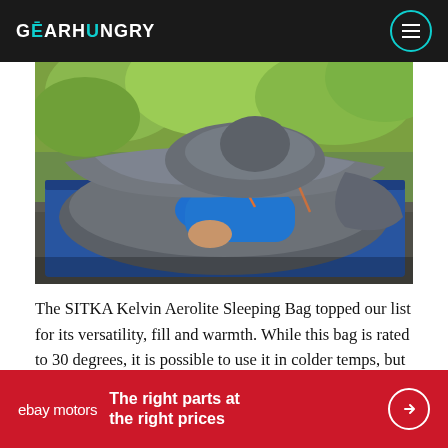GEARHUNGRY
[Figure (photo): Person wrapped in a gray SITKA Kelvin Aerolite sleeping bag, lying on a blue sleeping pad outdoors with green foliage in the background]
The SITKA Kelvin Aerolite Sleeping Bag topped our list for its versatility, fill and warmth. While this bag is rated to 30 degrees, it is possible to use it in colder temps, but some extra layers may be warranted
[Figure (infographic): eBay Motors advertisement banner: 'The right parts at the right prices' on a red background with eBay Motors logo and arrow button]